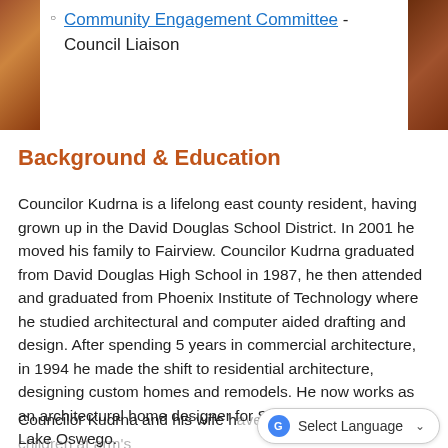Community Engagement Committee - Council Liaison
Background & Education
Councilor Kudrna is a lifelong east county resident, having grown up in the David Douglas School District. In 2001 he moved his family to Fairview. Councilor Kudrna graduated from David Douglas High School in 1987, he then attended and graduated from Phoenix Institute of Technology where he studied architectural and computer aided drafting and design. After spending 5 years in commercial architecture, in 1994 he made the shift to residential architecture, designing custom homes and remodels. He now works as an architectural home designer for Suntel Design, Inc. in Lake Oswego.
Councilor Kudrna and his wife h... length within the Reynolds School district; with